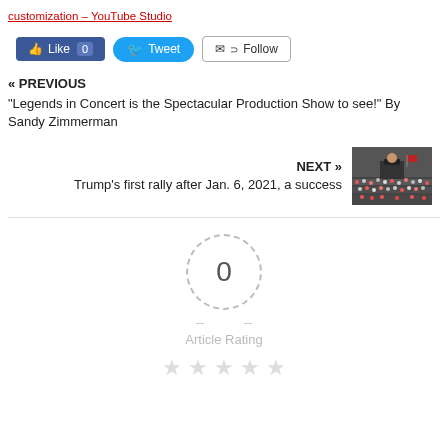customization – YouTube Studio
[Figure (screenshot): Social sharing buttons: Like 0 (Facebook), Tweet (Twitter), Follow (email/RSS)]
« PREVIOUS
“Legends in Concert is the Spectacular Production Show to see!” By Sandy Zimmerman
NEXT »
Trump’s first rally after Jan. 6, 2021, a success
[Figure (photo): Photo of a large crowd at a Trump rally with speaker at podium]
[Figure (infographic): Article rating widget showing 0 rating with dashed circle, dashes, Article Rating label, and 5 empty stars]